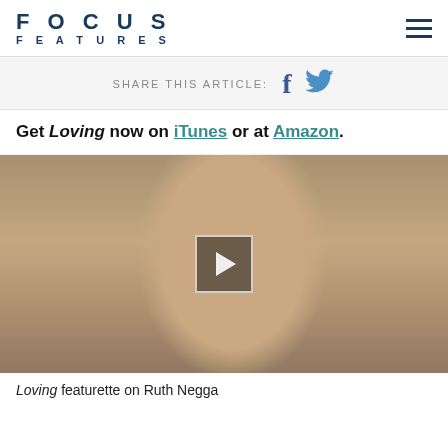FOCUS FEATURES
SHARE THIS ARTICLE:
Get Loving now on iTunes or at Amazon.
[Figure (photo): Video thumbnail showing a woman with curly dark hair smiling, with a play button overlay in the center]
Loving featurette on Ruth Negga